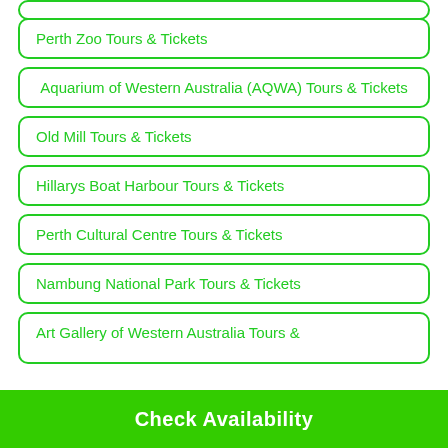Perth Zoo Tours & Tickets
Aquarium of Western Australia (AQWA) Tours & Tickets
Old Mill Tours & Tickets
Hillarys Boat Harbour Tours & Tickets
Perth Cultural Centre Tours & Tickets
Nambung National Park Tours & Tickets
Art Gallery of Western Australia Tours &
Check Availability